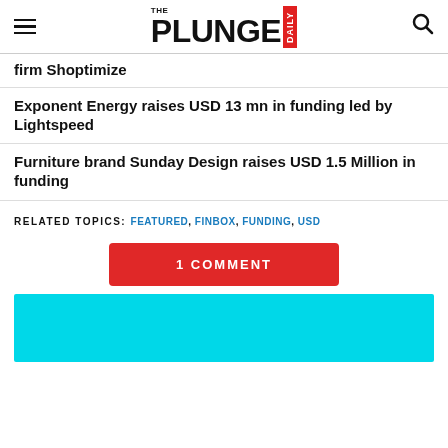THE PLUNGE DAILY
firm Shoptimize
Exponent Energy raises USD 13 mn in funding led by Lightspeed
Furniture brand Sunday Design raises USD 1.5 Million in funding
RELATED TOPICS: FEATURED, FINBOX, FUNDING, USD
1 COMMENT
[Figure (other): Cyan/teal colored banner block]